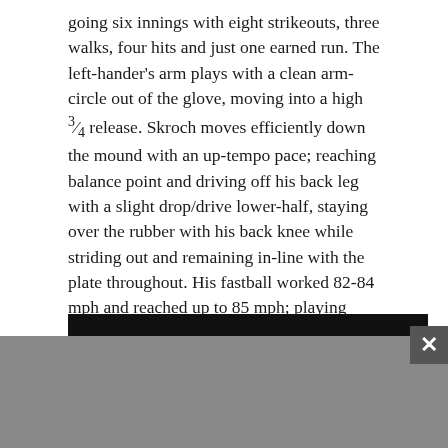going six innings with eight strikeouts, three walks, four hits and just one earned run. The left-hander's arm plays with a clean arm-circle out of the glove, moving into a high ¾ release. Skroch moves efficiently down the mound with an up-tempo pace; reaching balance point and driving off his back leg with a slight drop/drive lower-half, staying over the rubber with his back knee while striding out and remaining in-line with the plate throughout. His fastball worked 82-84 mph and reached up to 85 mph; playing with sink into the zone and setting up his other offering effectively. His go-to secondary pitch was a sharp 1/7 curveball in which he showed tremendous control for; spotting around the zone while also burying in the dirt when he was ahead in the count. Sure-fire 2024 follow for the coming years.
[Figure (other): Black bar at top of advertisement or video player area, with gray content area below and a close (X) button in the top-right corner of the ad unit.]